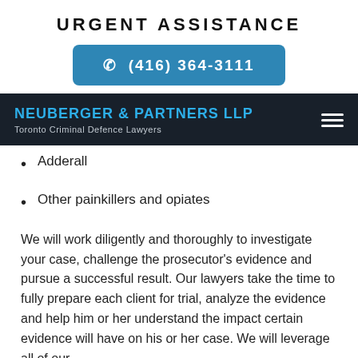URGENT ASSISTANCE
(416) 364-3111
NEUBERGER & PARTNERS LLP
Toronto Criminal Defence Lawyers
Adderall
Other painkillers and opiates
We will work diligently and thoroughly to investigate your case, challenge the prosecutor's evidence and pursue a successful result. Our lawyers take the time to fully prepare each client for trial, analyze the evidence and help him or her understand the impact certain evidence will have on his or her case. We will leverage all of our